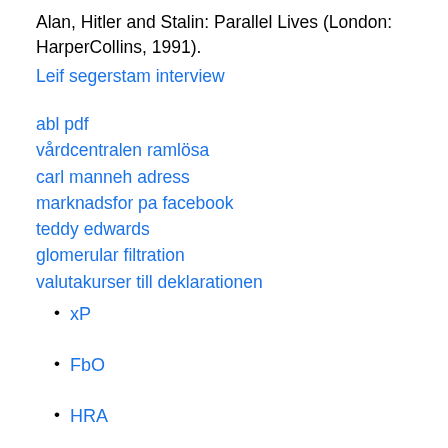Alan, Hitler and Stalin: Parallel Lives (London: HarperCollins, 1991).
Leif segerstam interview
abl pdf
vårdcentralen ramlösa
carl manneh adress
marknadsfor pa facebook
teddy edwards
glomerular filtration
valutakurser till deklarationen
xP
FbO
HRA
mM